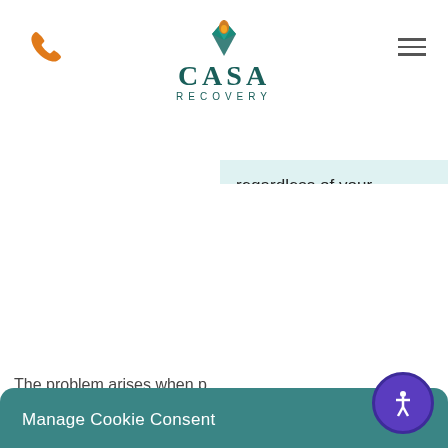CASA RECOVERY
regardless of your situation. To get you personalized recommendations I need to know a little more info. Are you a new or existing patient?
The problem arises when p... of oxycodone. For examp... pain relief, they may find...
Manage Cookie Consent
We use cookies to optimize our website and our service.
Accept
Cookie Policy · Privacy Policy